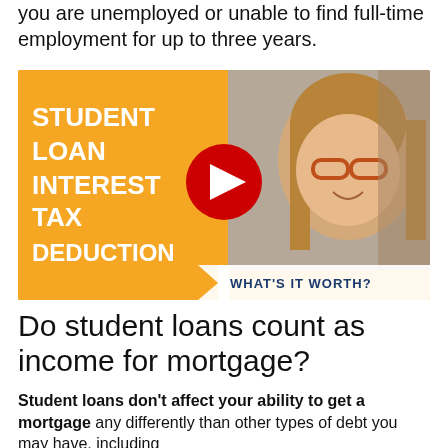you are unemployed or unable to find full-time employment for up to three years.
[Figure (screenshot): YouTube video thumbnail for 'Student Loan Interest Tax Deduction - What's It Worth?' showing a woman with glasses smiling on the right side against an orange background with white bold text on the left, and a YouTube play button in the center.]
Do student loans count as income for mortgage?
Student loans don't affect your ability to get a mortgage any differently than other types of debt you may have, including